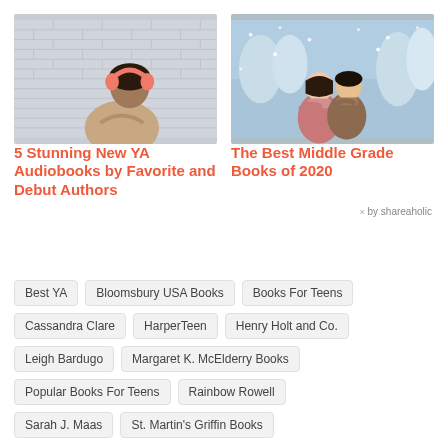[Figure (photo): Young woman with pink headphones against a white brick wall background]
5 Stunning New YA Audiobooks by Favorite and Debut Authors
[Figure (illustration): Illustrated artwork of two figures in winter scene with snow-covered trees]
The Best Middle Grade Books of 2020
× by shareaholic
Best YA
Bloomsbury USA Books
Books For Teens
Cassandra Clare
HarperTeen
Henry Holt and Co.
Leigh Bardugo
Margaret K. McElderry Books
Popular Books For Teens
Rainbow Rowell
Sarah J. Maas
St. Martin's Griffin Books